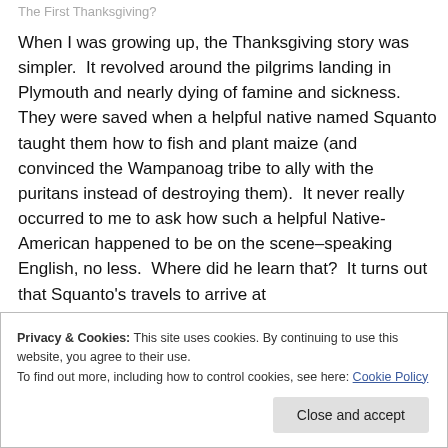The First Thanksgiving?
When I was growing up, the Thanksgiving story was simpler.  It revolved around the pilgrims landing in Plymouth and nearly dying of famine and sickness.   They were saved when a helpful native named Squanto taught them how to fish and plant maize (and convinced the Wampanoag tribe to ally with the puritans instead of destroying them).  It never really occurred to me to ask how such a helpful Native-American happened to be on the scene–speaking English, no less.  Where did he learn that?  It turns out that Squanto's travels to arrive at
Privacy & Cookies: This site uses cookies. By continuing to use this website, you agree to their use.
To find out more, including how to control cookies, see here: Cookie Policy
Close and accept